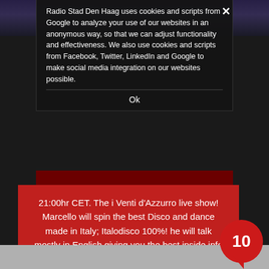Radio Stad Den Haag uses cookies and scripts from Google to analyze your use of our websites in an anonymous way, so that we can adjust functionality and effectiveness. We also use cookies and scripts from Facebook, Twitter, LinkedIn and Google to make social media integration on our websites possible.
Ok
21:00hr CET. The i Venti d'Azzurro live show! Marcello will spin the best Disco and dance made in Italy; Italodisco 100%! he will talk mostly in English giving you the best inside info on recordlabels, artists and producers … Marcello knows it all!

i Venti shows will be ready within 24 hours. On Youtube and Mixcloud. Just click on download section on top to see it all.